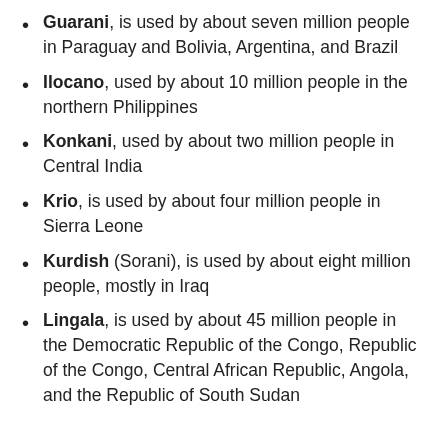Guarani, is used by about seven million people in Paraguay and Bolivia, Argentina, and Brazil
Ilocano, used by about 10 million people in the northern Philippines
Konkani, used by about two million people in Central India
Krio, is used by about four million people in Sierra Leone
Kurdish (Sorani), is used by about eight million people, mostly in Iraq
Lingala, is used by about 45 million people in the Democratic Republic of the Congo, Republic of the Congo, Central African Republic, Angola, and the Republic of South Sudan